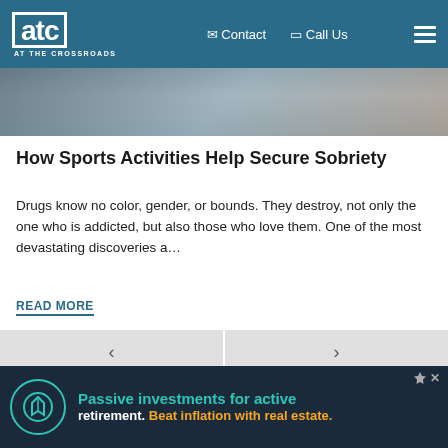ATC AT THE CROSSROADS | Contact | Call Us
[Figure (photo): Partial hero image showing a sports stadium scene, blurred/cropped]
How Sports Activities Help Secure Sobriety
Drugs know no color, gender, or bounds. They destroy, not only the one who is addicted, but also those who love them. One of the most devastating discoveries a…
READ MORE
[Figure (screenshot): Pagination navigation with left arrow and right arrow buttons]
[Figure (screenshot): Dropdown chevron button (v)]
[Figure (infographic): Advertisement banner: Passive investments for active retirement. Beat inflation with real estate. — with teal/dark background and circular logo]